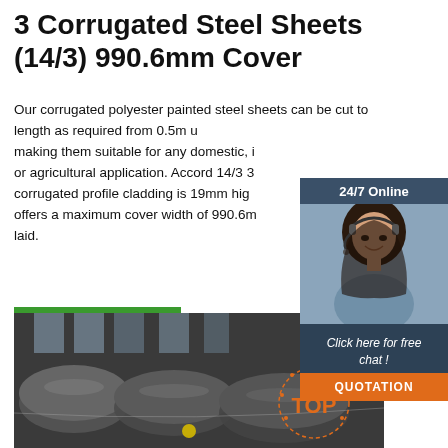3 Corrugated Steel Sheets (14/3) 990.6mm Cover
Our corrugated polyester painted steel sheets can be cut to length as required from 0.5m up to 10m making them suitable for any domestic, industrial or agricultural application. Accord 14/3 3 corrugated profile cladding is 19mm high and offers a maximum cover width of 990.6mm when laid.
[Figure (photo): Chat widget with woman wearing headset, dark background header '24/7 Online', text 'Click here for free chat!', orange QUOTATION button]
[Figure (photo): Industrial steel rods/tubes in warehouse setting with TOP badge overlay]
Get Price